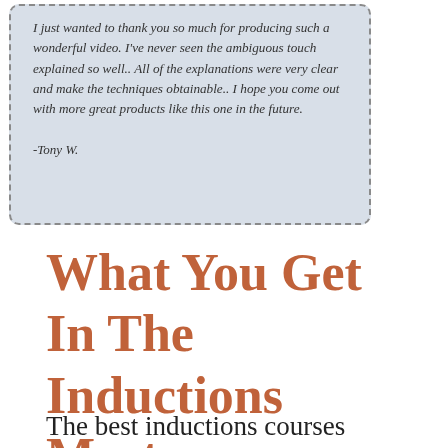I just wanted to thank you so much for producing such a wonderful video. I've never seen the ambiguous touch explained so well.. All of the explanations were very clear and make the techniques obtainable.. I hope you come out with more great products like this one in the future.

-Tony W.
What You Get In The Inductions Mastery Course
The best inductions courses rolled into one -- and